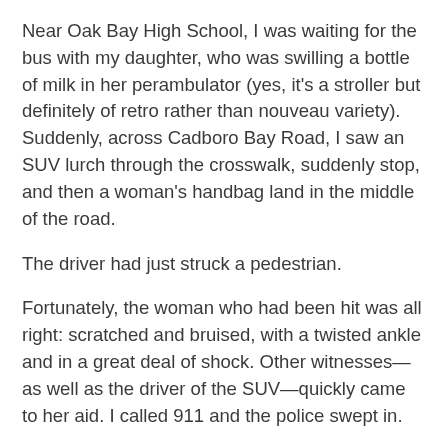Near Oak Bay High School, I was waiting for the bus with my daughter, who was swilling a bottle of milk in her perambulator (yes, it's a stroller but definitely of retro rather than nouveau variety). Suddenly, across Cadboro Bay Road, I saw an SUV lurch through the crosswalk, suddenly stop, and then a woman's handbag land in the middle of the road.
The driver had just struck a pedestrian.
Fortunately, the woman who had been hit was all right: scratched and bruised, with a twisted ankle and in a great deal of shock. Other witnesses—as well as the driver of the SUV—quickly came to her aid. I called 911 and the police swept in.
But it all could have been much worse. And from my experience as a cyclist and especially as a pedestrian, it's getting all too common.